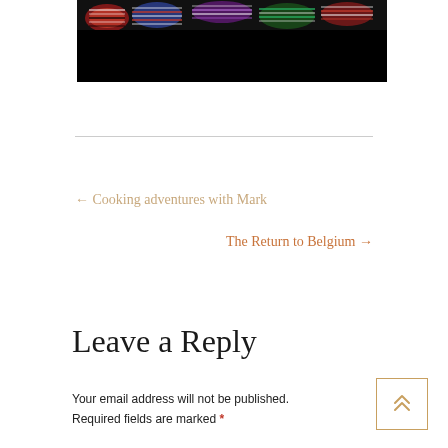[Figure (photo): Partial view of a photo at top of page showing colorful rolled/folded fabric or candy items against a dark/black background]
← Cooking adventures with Mark
The Return to Belgium →
Leave a Reply
Your email address will not be published.
Required fields are marked *